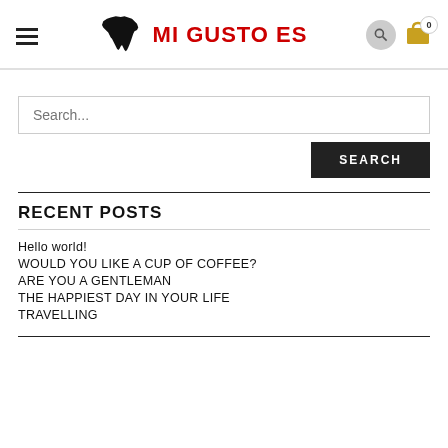MI GUSTO ES — website header with hamburger menu, logo, search icon, and cart icon
Search...
SEARCH
RECENT POSTS
Hello world!
WOULD YOU LIKE A CUP OF COFFEE?
ARE YOU A GENTLEMAN
THE HAPPIEST DAY IN YOUR LIFE
TRAVELLING